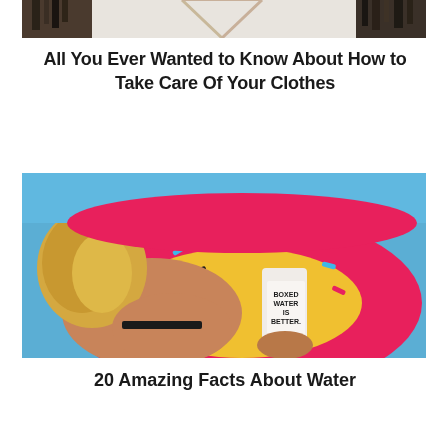[Figure (photo): Top portion of a clothing rack photo showing hanging garments in a closet/bedroom setting]
All You Ever Wanted to Know About How to Take Care Of Your Clothes
[Figure (photo): Young woman with blonde hair lying on a pink donut pool float, holding a white Boxed Water is Better carton]
20 Amazing Facts About Water